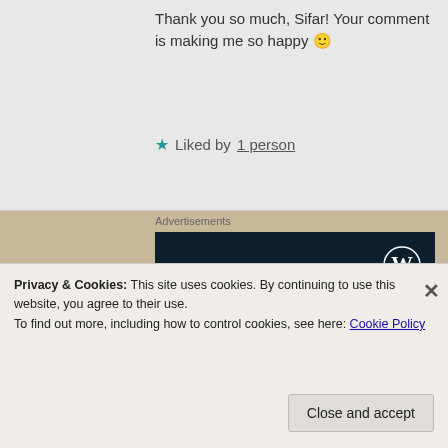Thank you so much, Sifar! Your comment is making me so happy 🙂
★ Liked by 1 person
Advertisements
[Figure (infographic): WordPress advertisement banner with dark navy background. Shows WordPress logo (W in circle) top right, text 'Opinions. We all have them!', a pink 'Start a survey' button, and CrowdSignal logo bottom right.]
Privacy & Cookies: This site uses cookies. By continuing to use this website, you agree to their use.
To find out more, including how to control cookies, see here: Cookie Policy
Close and accept